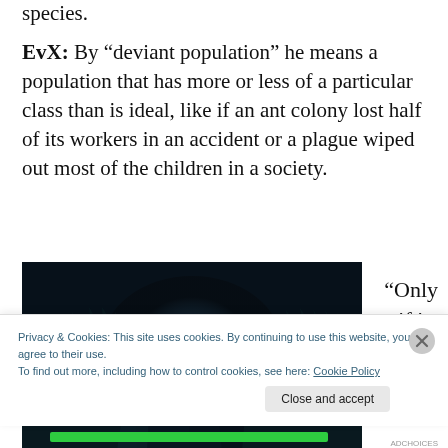species.
EvX: By “deviant population” he means a population that has more or less of a particular class than is ideal, like if an ant colony lost half of its workers in an accident or a plague wiped out most of the children in a society.
[Figure (photo): Dark nighttime photo of a moon shining through bare tree branches against a dark sky]
“Only if its
Privacy & Cookies: This site uses cookies. By continuing to use this website, you agree to their use.
To find out more, including how to control cookies, see here: Cookie Policy
Close and accept